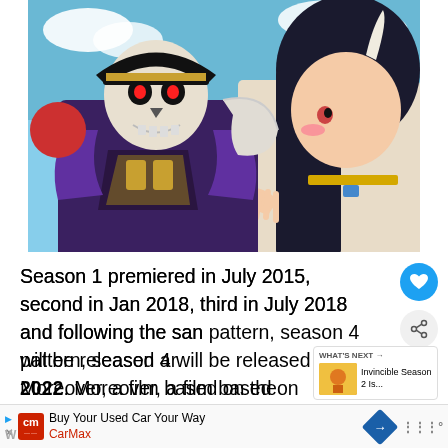[Figure (illustration): Anime screenshot showing two characters: a skeleton figure in dark armor with a pirate-style hat with yellow trim, glowing red eyes, and purple robes on the left; and a female character with long black hair, light skin with a blush, wearing light-colored clothing on the right. Blue sky in the background.]
Season 1 premiered in July 2015, second in Jan 2018, third in July 2018 and following the same pattern, season 4 will be released around 2022. Moreover, a film based on the Holy Kingdom arc is also in production.
Buy Your Used Car Your Way
CarMax